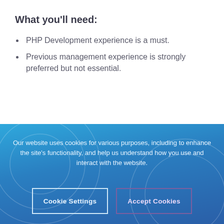What you'll need:
PHP Development experience is a must.
Previous management experience is strongly preferred but not essential.
Our website uses cookies for various purposes, including to enhance the site's functionality, and help us understand how you use and interact with the website.
Cookie Settings
Accept Cookies